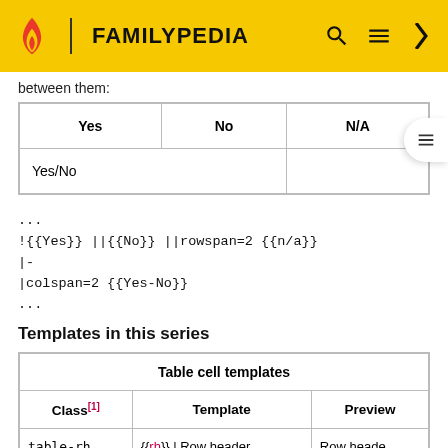FAMILYPEDIA
between them:
| Yes | No | N/A |
| --- | --- | --- |
| Yes/No |  |  |
...
!{{Yes}} ||{{No}} ||rowspan=2 {{n/a}}
|-
|colspan=2 {{Yes-No}}
...
Templates in this series
| Table cell templates |  |  |
| --- | --- | --- |
| Class[1] | Template | Preview |
| table-rh | {{rh}} | Row header | Row heade |